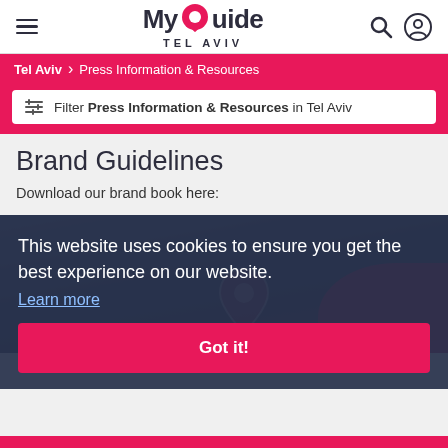MyGuide TEL AVIV
Tel Aviv > Press Information & Resources
Filter Press Information & Resources in Tel Aviv
Brand Guidelines
Download our brand book here:
[Figure (screenshot): Dark blue/gray background image with a pink map pin icon overlay]
This website uses cookies to ensure you get the best experience on our website. Learn more
Got it!